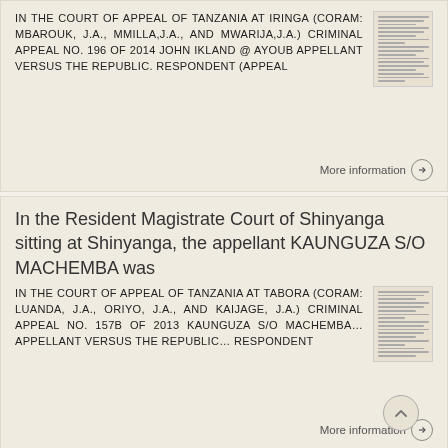IN THE COURT OF APPEAL OF TANZANIA AT IRINGA (CORAM: MBAROUK, J.A., MMILLA,J.A., And MWARIJA,J.A.) CRIMINAL APPEAL NO. 196 OF 2014 JOHN IKLAND @ AYOUB APPELLANT VERSUS THE REPUBLIC. RESPONDENT (Appeal
[Figure (other): Thumbnail image of a legal document page]
More information →
In the Resident Magistrate Court of Shinyanga sitting at Shinyanga, the appellant KAUNGUZA S/O MACHEMBA was
IN THE COURT OF APPEAL OF TANZANIA AT TABORA (CORAM: LUANDA, J.A., ORIYO, J.A., And KAIJAGE, J.A.) CRIMINAL APPEAL NO. 157B OF 2013 KAUNGUZA S/O MACHEMBA… APPELLANT VERSUS THE REPUBLIC… RESPONDENT
[Figure (other): Thumbnail image of a legal document page]
More information →